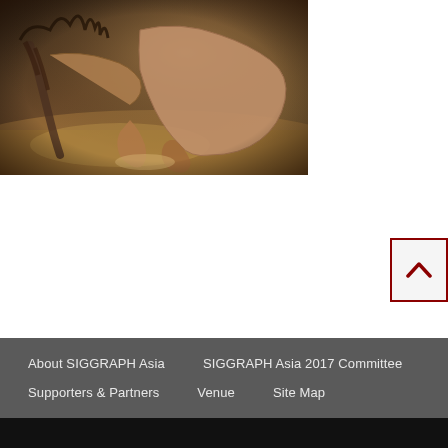[Figure (photo): Sepia-toned photograph of two figures wrestling or grappling on a sandy surface, dramatic lighting with dust, braided hair and bare feet visible]
[Figure (other): Scroll-to-top button: white/light background box with dark red border and a dark red upward chevron (^) arrow icon]
About SIGGRAPH Asia   SIGGRAPH Asia 2017 Committee   Supporters & Partners   Venue   Site Map